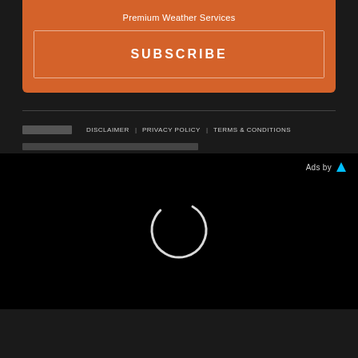Premium Weather Services
SUBSCRIBE
DISCLAIMER  PRIVACY POLICY  TERMS & CONDITIONS
[Figure (other): Black ad panel with loading spinner circle and 'Ads by' label with blue triangle icon]